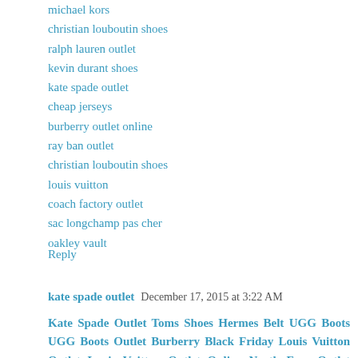michael kors
christian louboutin shoes
ralph lauren outlet
kevin durant shoes
kate spade outlet
cheap jerseys
burberry outlet online
ray ban outlet
christian louboutin shoes
louis vuitton
coach factory outlet
sac longchamp pas cher
oakley vault
Reply
kate spade outlet  December 17, 2015 at 3:22 AM
Kate Spade Outlet Toms Shoes Hermes Belt UGG Boots UGG Boots Outlet Burberry Black Friday Louis Vuitton Outlet Louis Vuitton Outlet Online North Face Outlet Store North Face Store The North Face Outlet Louis Vuitton Factory Outlet Louis Vuittons Handbags